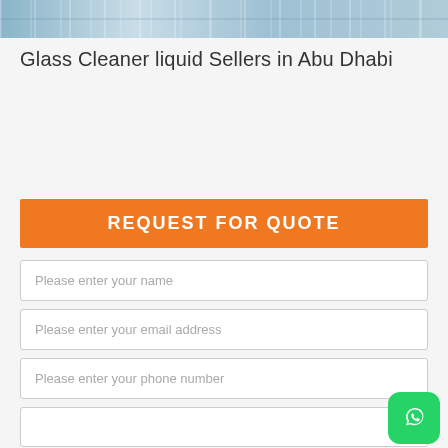[Figure (photo): Top portion of a glass building/window facade with blue sky reflection]
Glass Cleaner liquid Sellers in Abu Dhabi
REQUEST FOR QUOTE
Please enter your name
Please enter your email address
Please enter your phone number
(text area / message field)